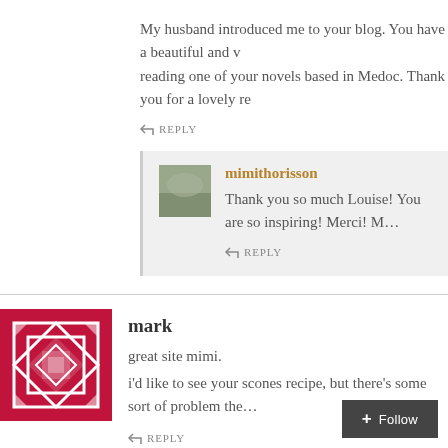My husband introduced me to your blog. You have a beautiful and v… reading one of your novels based in Medoc. Thank you for a lovely re…
REPLY
mimithorisson
Thank you so much Louise! You are so inspiring! Merci! M…
REPLY
mark
great site mimi.
i'd like to see your scones recipe, but there's some sort of problem the…
REPLY
Follow